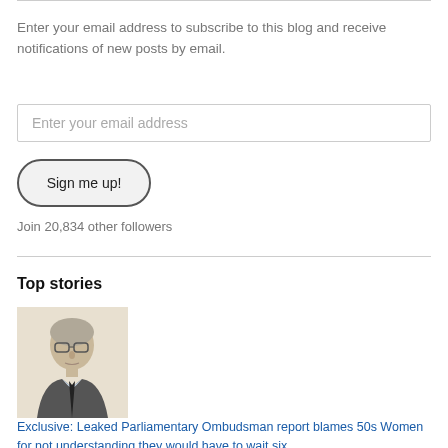Enter your email address to subscribe to this blog and receive notifications of new posts by email.
Enter your email address
Sign me up!
Join 20,834 other followers
Top stories
[Figure (photo): Portrait photo of an older man wearing glasses, suit jacket and tie, against a light background.]
Exclusive: Leaked Parliamentary Ombudsman report blames 50s Women for not understanding they would have to wait six